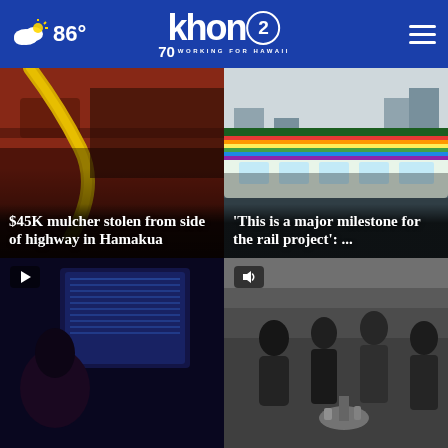86° khon2 WORKING FOR HAWAII
[Figure (screenshot): News card: yellow hose/equipment close-up photo with headline '$45K mulcher stolen from side of highway in Hamakua']
[Figure (screenshot): News card: rail/train photo with pride flag colors with headline 'This is a major milestone for the rail project': ...]
[Figure (screenshot): News card with play button: dark studio/screen background, video indicator]
[Figure (screenshot): News card with sound icon: people gathered indoors at an event]